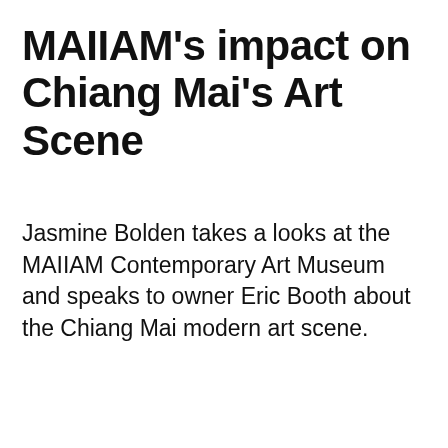MAIIAM's impact on Chiang Mai's Art Scene
Jasmine Bolden takes a looks at the MAIIAM Contemporary Art Museum and speaks to owner Eric Booth about the Chiang Mai modern art scene.